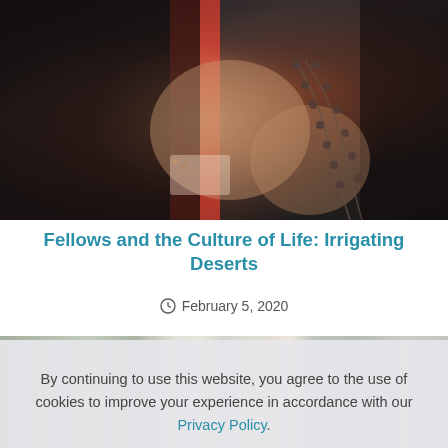[Figure (photo): Close-up photograph of a person's hands holding rosary beads, with a red candle or fabric in the background. The person is wearing dark clothing with a patterned sleeve cuff.]
Fellows and the Culture of Life: Irrigating Deserts
February 5, 2020
[Figure (photo): Partially visible photograph of a crowd scene, partially obscured by cookie consent overlay.]
By continuing to use this website, you agree to the use of cookies to improve your experience in accordance with our Privacy Policy.
ACCEPT